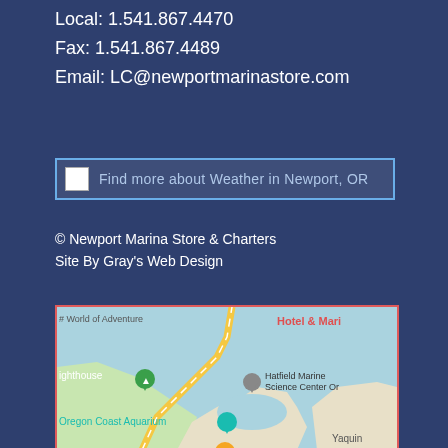Local: 1.541.867.4470
Fax: 1.541.867.4489
Email: LC@newportmarinastore.com
[Figure (screenshot): Weather widget button: 'Find more about Weather in Newport, OR' with a small image icon on the left, inside a blue-bordered rectangle.]
© Newport Marina Store & Charters
Site By Gray's Web Design
[Figure (map): Google Maps screenshot showing Newport, OR area with landmarks: World of Adventure, Hotel & Mari(na), lighthouse, Hatfield Marine Science Center OR, Oregon Coast Aquarium, Yaqui(na), with colored pins and road overlays. Red border around the map.]